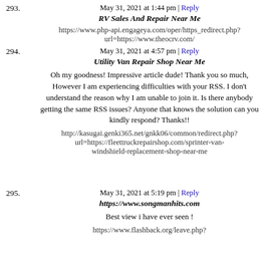293. May 31, 2021 at 1:44 pm | Reply
RV Sales And Repair Near Me
https://www.php-api.engageya.com/oper/https_redirect.php?url=https://www.theocrv.com/
294. May 31, 2021 at 4:57 pm | Reply
Utility Van Repair Shop Near Me
Oh my goodness! Impressive article dude! Thank you so much, However I am experiencing difficulties with your RSS. I don't understand the reason why I am unable to join it. Is there anybody getting the same RSS issues? Anyone that knows the solution can you kindly respond? Thanks!!
http://kasugai.genki365.net/gnkk06/common/redirect.php?url=https://fleettruckrepairshop.com/sprinter-van-windshield-replacement-shop-near-me
295. May 31, 2021 at 5:19 pm | Reply
https://www.songmanhits.com
Best view i have ever seen !
https://www.flashback.org/leave.php?